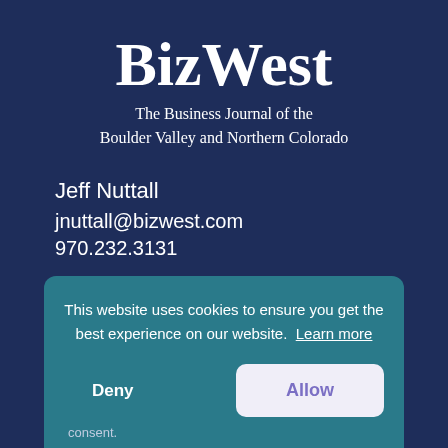[Figure (logo): BizWest logo with tagline 'The Business Journal of the Boulder Valley and Northern Colorado' on dark navy background]
Jeff Nuttall
jnuttall@bizwest.com
970.232.3131
This website uses cookies to ensure you get the best experience on our website.  Learn more
Deny    Allow
consent.